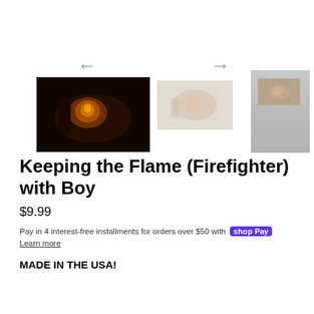[Figure (photo): Product image carousel showing three thumbnail images: first is a dark painting of a firefighter scene with warm fire glow, second is a lighter duplicate thumbnail, third shows a person holding the poster. Navigation arrows (left and right) are visible above the thumbnails.]
Keeping the Flame (Firefighter) with Boy
$9.99
Pay in 4 interest-free installments for orders over $50 with shop Pay Learn more
MADE IN THE USA!